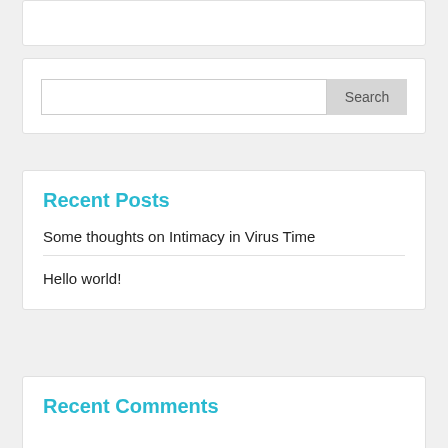(top card partial)
Search
Recent Posts
Some thoughts on Intimacy in Virus Time
Hello world!
Recent Comments